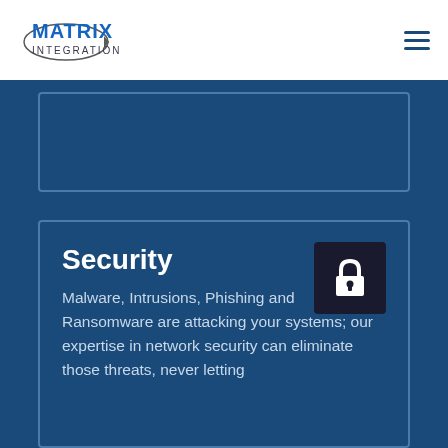[Figure (logo): Matrix Integration logo with orbit ring graphic and blue bold text MATRIX above INTEGRATION]
[Figure (other): Hamburger menu icon with three horizontal lines in dark blue]
Security
Malware, Intrusions, Phishing and Ransomware are attacking your systems; our expertise in network security can eliminate those threats, never letting